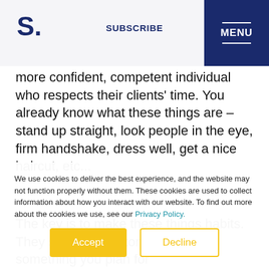S. | SUBSCRIBE | MENU
more confident, competent individual who respects their clients' time. You already know what these things are – stand up straight, look people in the eye, firm handshake, dress well, get a nice haircut, etc...
The key is to make these things habits. They should be automatic, not something you plan for
We use cookies to deliver the best experience, and the website may not function properly without them. These cookies are used to collect information about how you interact with our website. To find out more about the cookies we use, see our Privacy Policy.